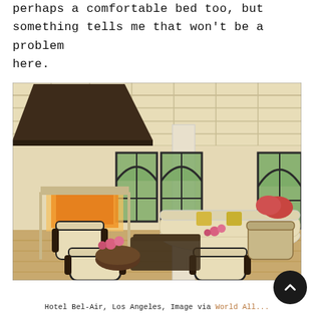perhaps a comfortable bed too, but something tells me that won't be a problem here.
[Figure (photo): Luxury hotel lobby interior of Hotel Bel-Air, Los Angeles — cream-colored upholstered furniture, arched black-framed windows with garden views, coffered ceiling, suspended fireplace hood, pink flowers, gold accent pillows.]
Hotel Bel-Air, Los Angeles, Image via World All...